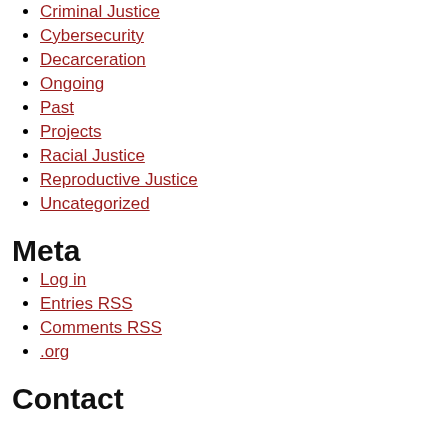Criminal Justice
Cybersecurity
Decarceration
Ongoing
Past
Projects
Racial Justice
Reproductive Justice
Uncategorized
Meta
Log in
Entries RSS
Comments RSS
.org
Contact